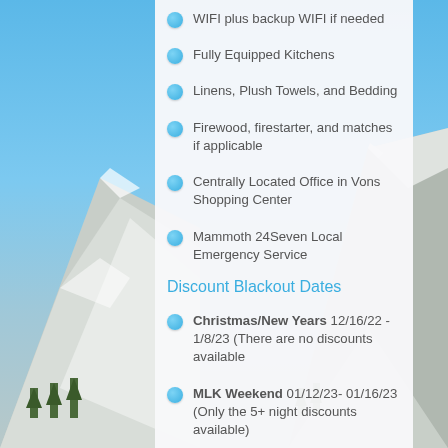WIFI plus backup WIFI if needed
Fully Equipped Kitchens
Linens, Plush Towels, and Bedding
Firewood, firestarter, and matches if applicable
Centrally Located Office in Vons Shopping Center
Mammoth 24Seven Local Emergency Service
Discount Blackout Dates
Christmas/New Years 12/16/22 - 1/8/23 (There are no discounts available
MLK Weekend 01/12/23- 01/16/23 (Only the 5+ night discounts available)
President's Weekend 02/16/23- 02/20/23 (Only the 5+ night discounts available)
IKON Discounts - Enjoy a 30%